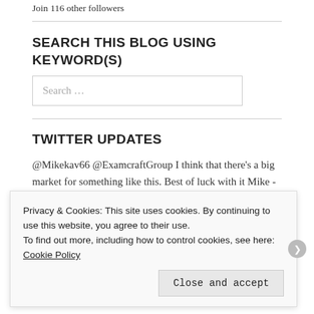Join 116 other followers
SEARCH THIS BLOG USING KEYWORD(S)
Search …
TWITTER UPDATES
@Mikekav66 @ExamcraftGroup I think that there's a big market for something like this. Best of luck with it Mike - y… twitter.com/i/web/status/1… 1 week ago
Privacy & Cookies: This site uses cookies. By continuing to use this website, you agree to their use.
To find out more, including how to control cookies, see here: Cookie Policy